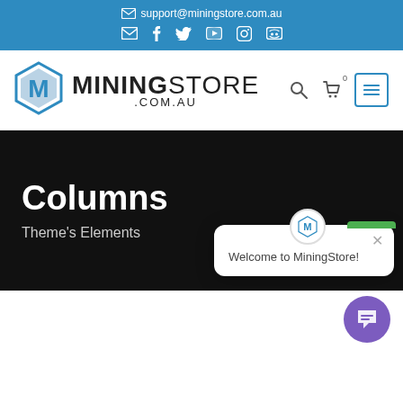support@miningstore.com.au
[Figure (screenshot): Social media icons: email, facebook, twitter, youtube, instagram, discord]
[Figure (logo): MiningStore.com.au logo with hexagonal icon and bold text]
Columns
Theme's Elements
[Figure (screenshot): Welcome to MiningStore! chat popup widget with close button and green indicator bar]